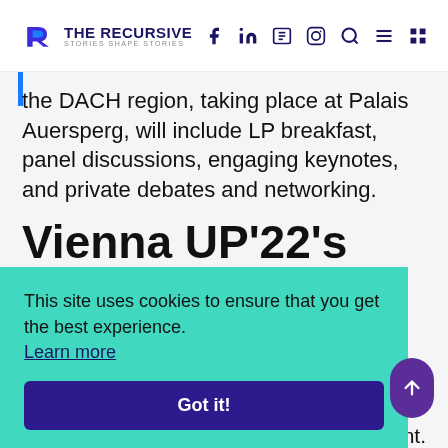THE RECURSIVE — Stories Shape Stories
the DACH region, taking place at Palais Auersperg, will include LP breakfast, panel discussions, engaging keynotes, and private debates and networking.
Vienna UP'22's Main Investors' Event
This site uses cookies to ensure that you get the best experience. Learn more
part of investors' event. zed community-driven festival on innovation and